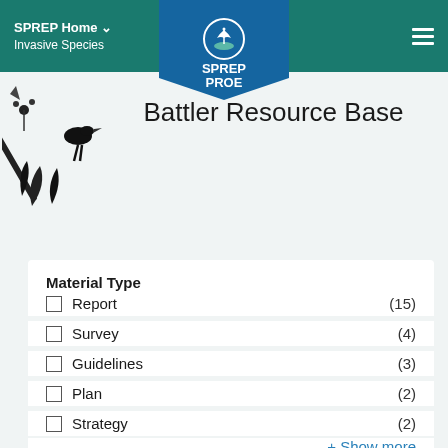SPREP Home  Invasive Species
[Figure (logo): SPREP PROE logo with palm tree and figure on island, blue pentagon background]
[Figure (illustration): Black and white illustration of bird, knife, and plants - Battler invasive species imagery]
Battler Resource Base
Material Type
Report (15)
Survey (4)
Guidelines (3)
Plan (2)
Strategy (2)
+ Show more
Programme
Predator Free Pacific (PFP) (6)